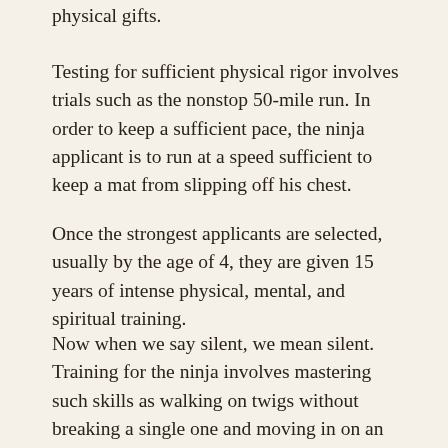physical gifts.
Testing for sufficient physical rigor involves trials such as the nonstop 50-mile run. In order to keep a sufficient pace, the ninja applicant is to run at a speed sufficient to keep a mat from slipping off his chest.
Once the strongest applicants are selected, usually by the age of 4, they are given 15 years of intense physical, mental, and spiritual training.
Now when we say silent, we mean silent. Training for the ninja involves mastering such skills as walking on twigs without breaking a single one and moving in on an opponent while carrying an armful of bells. Even if